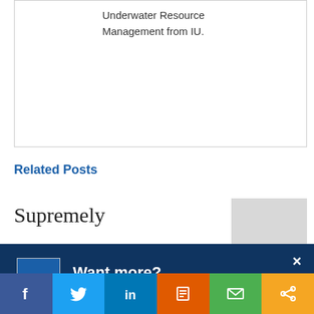Underwater Resource Management from IU.
Related Posts
Supremely
[Figure (screenshot): Newsletter thumbnail image with blue header and text lines]
Want more?
Get CCI's weekly round-up in your inbox. Unsubscribe anytime.
Let's do this!